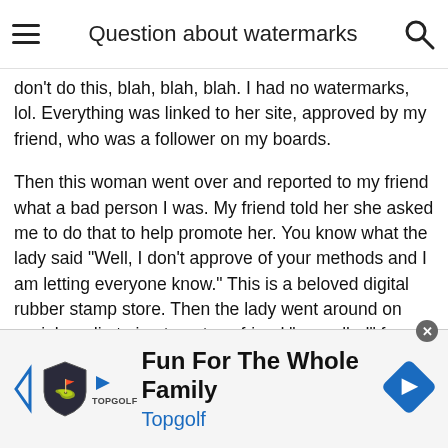Question about watermarks
very legitimate. I got reported for theft by a Pinterest user; it's unbelievable. Even my Pinterest board said these free images to help support my friends new store, please don't do this, blah, blah, blah. I had no watermarks, lol. Everything was linked to her site, approved by my friend, who was a follower on my boards.
Then this woman went over and reported to my friend what a bad person I was. My friend told her she asked me to do that to help promote her. You know what the lady said "Well, I don't approve of your methods and I am letting everyone know." This is a beloved digital rubber stamp store. Then the lady went around on social media trying to get my friend "cancelled" for trying to promote her digital store legitimately. It was bonker's crazy. Even Pinterest told us they were sorry. The cancel thing actually worked in my friends favor and she got lots of sales because people
[Figure (screenshot): Advertisement banner for Topgolf: Fun For The Whole Family, with Topgolf logo, play button, shield icon, and blue navigation/diamond icon on the right. Close button (x) in top right corner.]